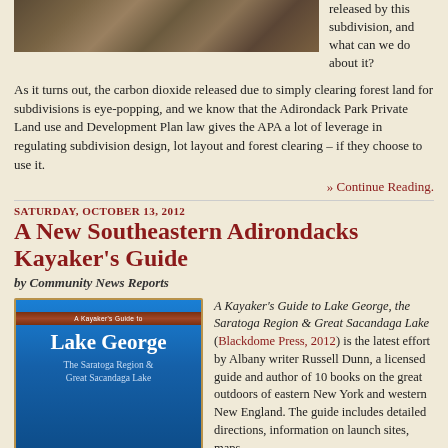[Figure (photo): A photograph of forest ground/woodland debris, partially cropped at top]
released by this subdivision, and what can we do about it?
As it turns out, the carbon dioxide released due to simply clearing forest land for subdivisions is eye-popping, and we know that the Adirondack Park Private Land use and Development Plan law gives the APA a lot of leverage in regulating subdivision design, lot layout and forest clearing – if they choose to use it.
» Continue Reading.
SATURDAY, OCTOBER 13, 2012
A New Southeastern Adirondacks Kayaker's Guide
by Community News Reports
[Figure (photo): Book cover: A Kayaker's Guide to Lake George, The Saratoga Region & Great Sacandaga Lake]
A Kayaker's Guide to Lake George, the Saratoga Region & Great Sacandaga Lake (Blackdome Press, 2012) is the latest effort by Albany writer Russell Dunn, a licensed guide and author of 10 books on the great outdoors of eastern New York and western New England. The guide includes detailed directions, information on launch sites, maps,